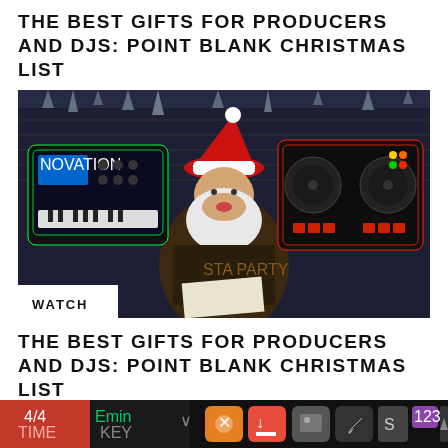THE BEST GIFTS FOR PRODUCERS AND DJS: POINT BLANK CHRISTMAS LIST
[Figure (photo): Person dressed as Santa Claus sitting in a music studio wearing a christmas sweater, with a DJ controller on the right and a music production device on the left, and a WATCH label badge in the lower left corner]
THE BEST GIFTS FOR PRODUCERS AND DJS: POINT BLANK CHRISTMAS LIST
[Figure (screenshot): Music production software interface showing 4/4 TIME, Emin KEY, and various toolbar buttons including orange, red, gray controls and a purple 1234 button]